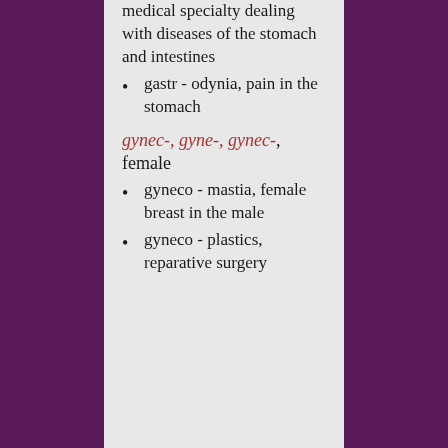medical specialty dealing with diseases of the stomach and intestines
gastr - odynia, pain in the stomach
gynec-, gyne-, gynec-, female
gyneco - mastia, female breast in the male
gyneco - plastics, reparative surgery